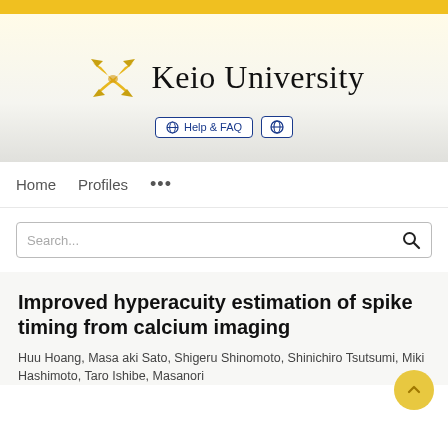[Figure (logo): Keio University logo with crossed pen/quill icon in gold and university name in serif font]
Help & FAQ
Home   Profiles   ...
Search...
Improved hyperacuity estimation of spike timing from calcium imaging
Huu Hoang, Masa aki Sato, Shigeru Shinomoto, Shinichiro Tsutsumi, Miki Hashimoto, Taro Ishibe, Masanori...